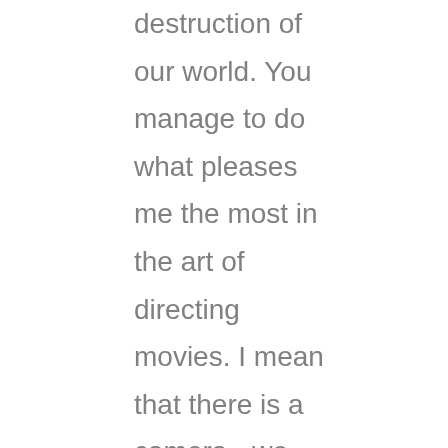destruction of our world. You manage to do what pleases me the most in the art of directing movies. I mean that there is a camera - we are the unseeing witnesses of a terrible drama in which your heroes are involved but also all our contemporaries. It is a